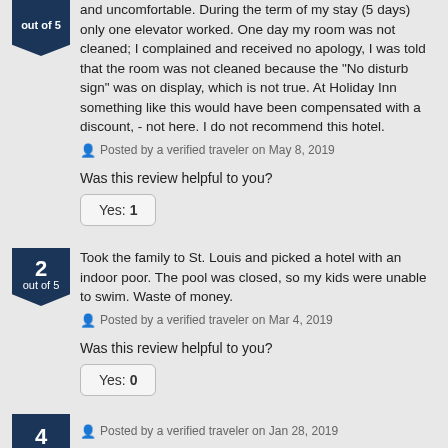and uncomfortable. During the term of my stay (5 days) only one elevator worked. One day my room was not cleaned; I complained and received no apology, I was told that the room was not cleaned because the "No disturb sign" was on display, which is not true. At Holiday Inn something like this would have been compensated with a discount, - not here. I do not recommend this hotel.
Posted by a verified traveler on May 8, 2019
Was this review helpful to you?
Yes: 1
2 out of 5
Took the family to St. Louis and picked a hotel with an indoor poor. The pool was closed, so my kids were unable to swim. Waste of money.
Posted by a verified traveler on Mar 4, 2019
Was this review helpful to you?
Yes: 0
4
Posted by a verified traveler on Jan 28, 2019